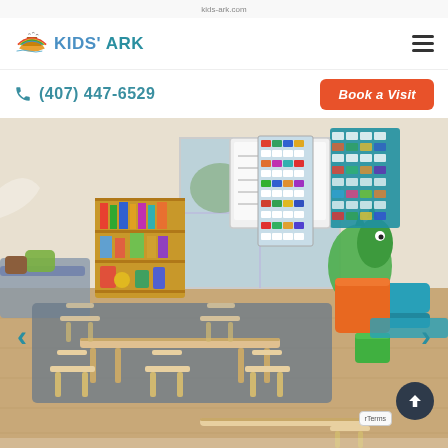[Figure (logo): Kids' Ark logo with a colorful ark icon and teal text reading KIDS' ark]
(407) 447-6529
Book a Visit
[Figure (photo): Bright, modern preschool classroom with wooden tables and chairs in the foreground, colorful book shelves, a green dinosaur foam sculpture, orange and teal foam seating blocks, whiteboards with learning materials on the wall, and large windows in the background. Navigation arrows on both sides of the image.]
Terms